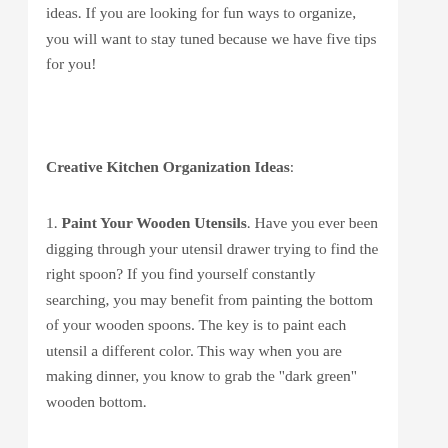ideas. If you are looking for fun ways to organize, you will want to stay tuned because we have five tips for you!
Creative Kitchen Organization Ideas:
1. Paint Your Wooden Utensils. Have you ever been digging through your utensil drawer trying to find the right spoon? If you find yourself constantly searching, you may benefit from painting the bottom of your wooden spoons. The key is to paint each utensil a different color. This way when you are making dinner, you know to grab the "dark green" wooden bottom.